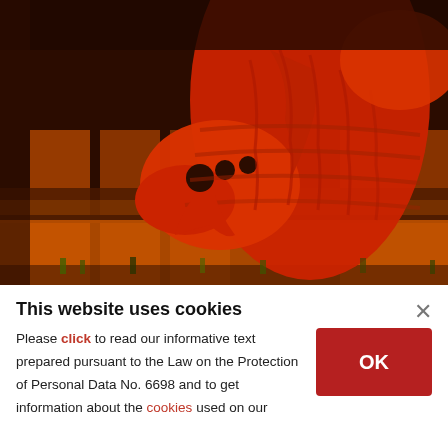[Figure (photo): A large Trojan horse sculpture lit in red/orange light against a dark background, with ancient-style architectural columns and small human figures visible at the base.]
This website uses cookies
Please click to read our informative text prepared pursuant to the Law on the Protection of Personal Data No. 6698 and to get information about the cookies used on our